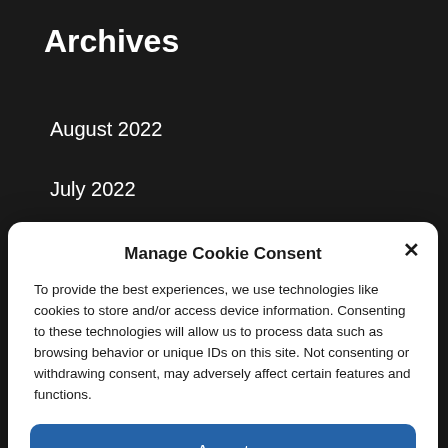Archives
August 2022
July 2022
June 2022
May 2022
Manage Cookie Consent
To provide the best experiences, we use technologies like cookies to store and/or access device information. Consenting to these technologies will allow us to process data such as browsing behavior or unique IDs on this site. Not consenting or withdrawing consent, may adversely affect certain features and functions.
Accept
Cookie Policy